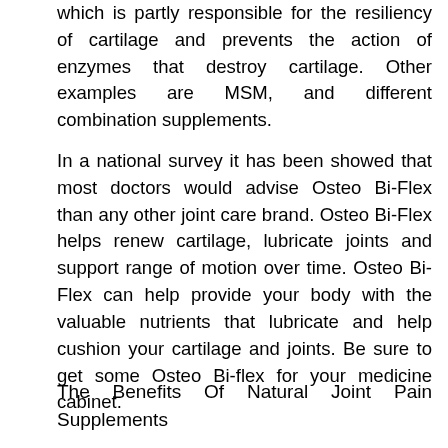which is partly responsible for the resiliency of cartilage and prevents the action of enzymes that destroy cartilage. Other examples are MSM, and different combination supplements.
In a national survey it has been showed that most doctors would advise Osteo Bi-Flex than any other joint care brand. Osteo Bi-Flex helps renew cartilage, lubricate joints and support range of motion over time. Osteo Bi-Flex can help provide your body with the valuable nutrients that lubricate and help cushion your cartilage and joints. Be sure to get some Osteo Bi-flex for your medicine cabinet.
The Benefits Of Natural Joint Pain Supplements